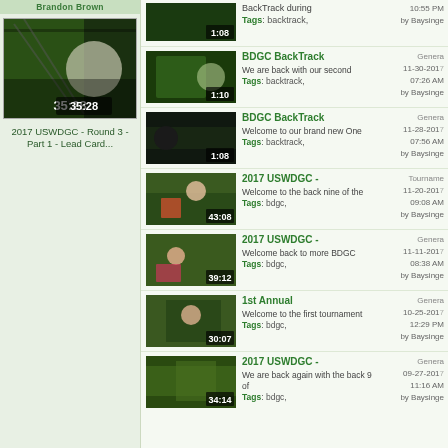[Figure (screenshot): Featured video thumbnail: 2017 USWDGC Round 3 Part 1 Lead Card, duration 35:28]
2017 USWDGC - Round 3 - Part 1 - Lead Card...
BDGC BackTrack - We are back with our second - Tags: backtrack, | General 11-30-2017 07:26 AM by Baysinge | 1:10
BDGC BackTrack - Welcome to our brand new One - Tags: backtrack, | General 11-28-2017 07:56 AM by Baysinge | 1:08
2017 USWDGC - Welcome to the back nine of the - Tags: bdgc, | Tournament 11-20-2017 09:08 AM by Baysinge | 43:08
2017 USWDGC - Welcome back to more BDGC - Tags: bdgc, | General 11-11-2017 08:38 AM by Baysinge | 39:12
1st Annual - Welcome to the first tournament - Tags: bdgc, | General 10-25-2017 12:29 PM by Baysinge | 30:07
2017 USWDGC - We are back again with the back 9 of - Tags: bdgc, | General 09-27-2017 11:16 AM by Baysinge | 34:14